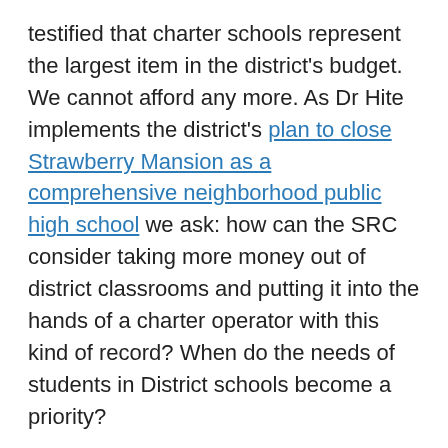testified that charter schools represent the largest item in the district's budget. We cannot afford any more. As Dr Hite implements the district's plan to close Strawberry Mansion as a comprehensive neighborhood public high school we ask: how can the SRC consider taking more money out of district classrooms and putting it into the hands of a charter operator with this kind of record? When do the needs of students in District schools become a priority?
To speak at any SRC meeting, call the Office of Family and Community Engagement at 215-400-4180 by 4:30 p.m. on the day before the meeting at which you wish to speak. You have 3 minutes to speak and timing your remarks is important